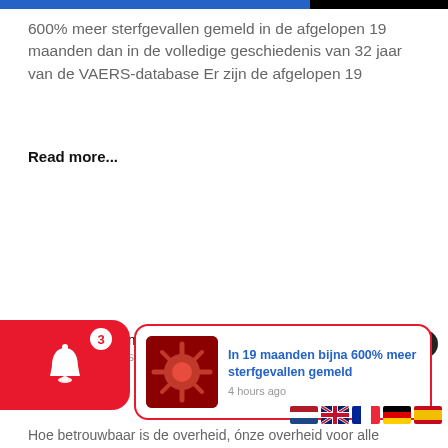600% meer sterfgevallen gemeld in de afgelopen 19 maanden dan in de volledige geschiedenis van 32 jaar van de VAERS-database Er zijn de afgelopen 19
Read more...
me on th
s Hofstra / 21
[Figure (screenshot): Red notification bell widget with badge showing 3]
[Figure (screenshot): Popup card with red coronavirus image and text: In 19 maanden bijna 600% meer sterfgevallen gemeld, 4 hours ago]
Hoe betrouwbaar is de overheid, ónze overheid voor alle